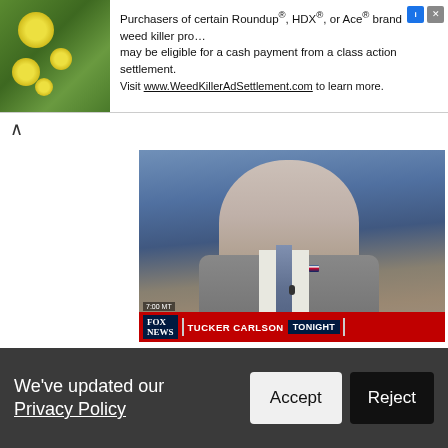[Figure (screenshot): Advertisement banner: image of yellow flowers on green background on the left; text reads 'Purchasers of certain Roundup®, HDX®, or Ace® brand weed killer products may be eligible for a cash payment from a class action settlement. Visit www.WeedKillerAdSettlement.com to learn more.' with ad icons on the right.]
[Figure (screenshot): Fox News video thumbnail showing Tucker Carlson Tonight host speaking at desk, with Fox News logo and red ticker bar at bottom reading 'TUCKER CARLSON TONIGHT'. Collapse chevron button visible at top left.]
More than 12 hours after the Murdoch network's photoshop smear of the judge who issued the Mar-a-Lago search warrant was exposed, host Brian Kilmeade insisted it was just a joke.
Read more
3 reactions   Share
We've updated our Privacy Policy